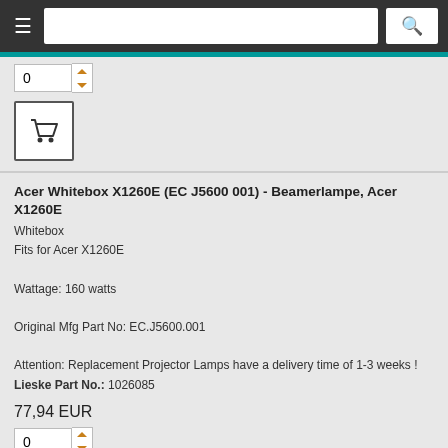Navigation header with search bar
0 [quantity selector] [cart button]
Acer Whitebox X1260E (EC J5600 001) - Beamerlampe, Acer X1260E
Whitebox
Fits for Acer X1260E

Wattage: 160 watts

Original Mfg Part No: EC.J5600.001

Attention: Replacement Projector Lamps have a delivery time of 1-3 weeks !
Lieske Part No.: 1026085
77,94 EUR
0 [quantity selector] [cart button]
Acer Projector Lamp Module X1260E (EC J5600 001) - Beamerlampe, Acer X1260E
Projector Lamp Module
Fits for Acer X1260E